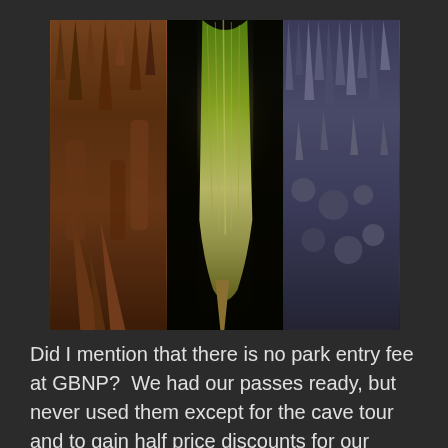[Figure (photo): Three cave photos side by side showing stalactites and stalagmites. Left: warm orange-brown cave formations. Middle: large green/yellow lit cave formation. Right: blue-purple cave formations with hanging stalactites.]
Did I mention that there is no park entry fee at GBNP?  We had our passes ready, but never used them except for the cave tour and to gain half price discounts for our campsite.  With the pass, we only paid $6.00 per night for our site.